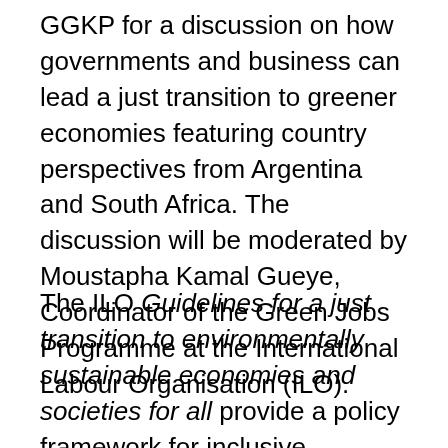GGKP for a discussion on how governments and business can lead a just transition to greener economies featuring country perspectives from Argentina and South Africa. The discussion will be moderated by Moustapha Kamal Gueye, Coordinator of the Green Jobs Programme at the International Labour Organisation (ILO).
The ILO Guidelines for a just transition to environmentally sustainable economies and societies for all provide a policy framework for inclusive, employment-centered green transitions for workers, enterprises and communities. This webinar is the third in a